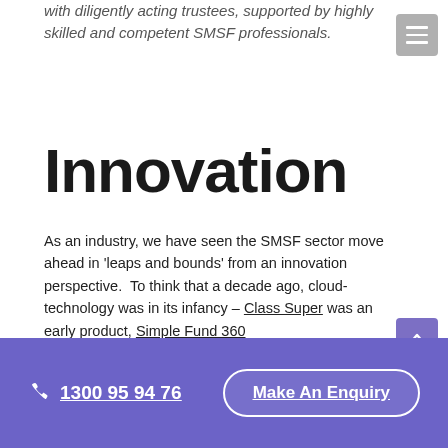with diligently acting trustees, supported by highly skilled and competent SMSF professionals.
Innovation
As an industry, we have seen the SMSF sector move ahead in 'leaps and bounds' from an innovation perspective.  To think that a decade ago, cloud-technology was in its infancy – Class Super was an early product, Simple Fund 360
1300 95 94 76   Make An Enquiry